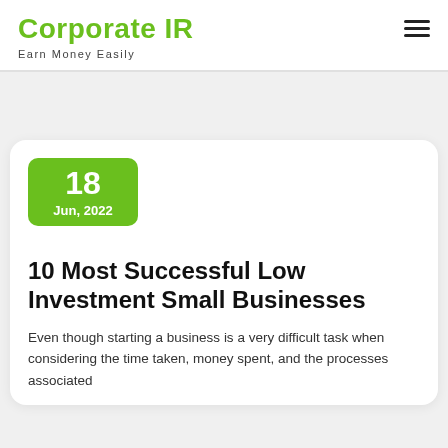Corporate IR
Earn Money Easily
18
Jun, 2022
10 Most Successful Low Investment Small Businesses
Even though starting a business is a very difficult task when considering the time taken, money spent, and the processes associated